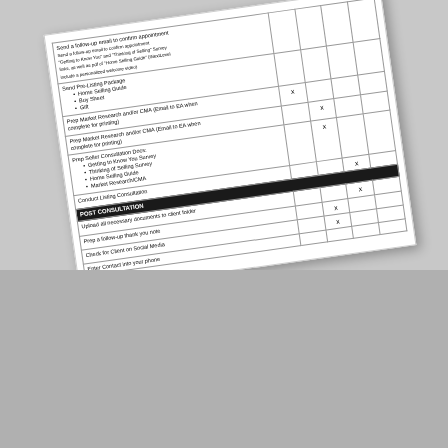[Figure (photo): Tilted/angled checklist document showing a real estate seller consultation checklist table with rows including: Send a follow-up email, Send Pre-Listing Package (Home Selling Guide, Buy Sheet, Gift), Prep Market Research and/or CMA, Prep Seller Consultation Docs (Getting to Know You Survey, Thinking of Selling Survey, Home Selling Guide, Market Research/CMA), Conduct Listing Consultation, POST CONSULTATION section header, Upload all necessary documents to client folder, Prep a follow-up thank you note, Check for Client on Social Media, Enter Contact into your phone. Columns include checkboxes marked with X.]
[Figure (photo): Advertisement banner for realvolve + firepoint Business Planning for Real Estate 2021. Shows a spiral-bound notebook with red bow/ribbon decoration, text reading BUSINESS PLANNING for real estate 2021, alongside module cards showing Business Planning 2021, Tools & Resources, Creating a Business Plan, Time Management, Money Management. Bottom right corner has a ClickFunnels 'made with' badge with a blue arrow button.]